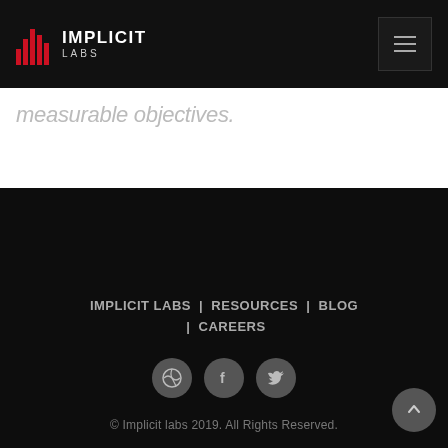[Figure (logo): Implicit Labs logo with red bar-graph style icon and white text IMPLICIT LABS]
measurable objectives.
IMPLICIT LABS | RESOURCES | BLOG | CAREERS
© Implicit labs 2019. All Rights Reserved.